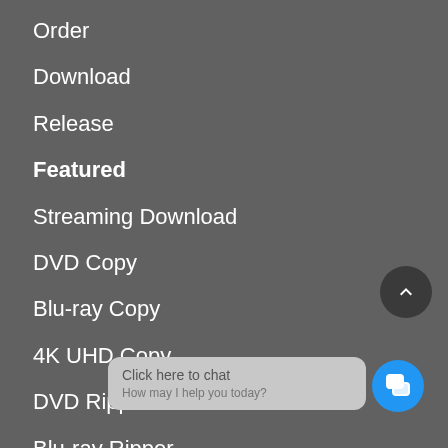Order
Download
Release
Featured
Streaming Download
DVD Copy
Blu-ray Copy
4K UHD Copy
DVD Ripper
Blu-ray Ripper
Video Converter
Video Capture Recording
Support
[Figure (other): Scroll-to-top circular dark button with upward chevron arrow]
[Figure (other): Chat widget: grey speech bubble with 'Click here to chat / How may I help you today?' and blue circular chat icon button]